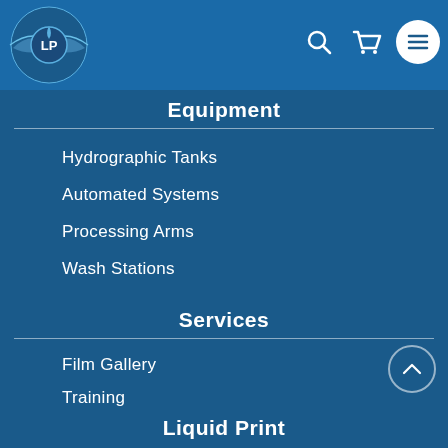Liquid Print navigation header with logo, search, cart, and menu icons
Equipment
Hydrographic Tanks
Automated Systems
Processing Arms
Wash Stations
Services
Film Gallery
Training
Supplies
Custom Film Development
Hydrographic Processing
Liquid Print